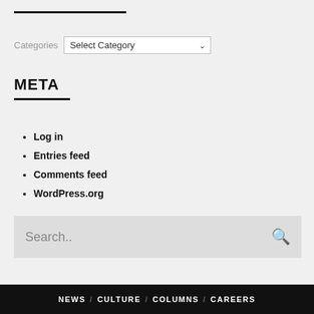Categories  Select Category
META
Log in
Entries feed
Comments feed
WordPress.org
Search..
NEWS / CULTURE / COLUMNS / CAREERS